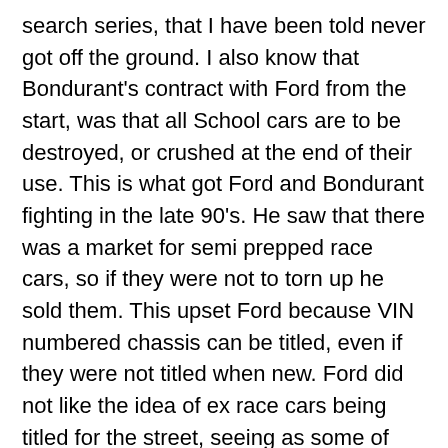search series, that I have been told never got off the ground. I also know that Bondurant's contract with Ford from the start, was that all School cars are to be destroyed, or crushed at the end of their use. This is what got Ford and Bondurant fighting in the late 90's. He saw that there was a market for semi prepped race cars, so if they were not to torn up he sold them. This upset Ford because VIN numbered chassis can be titled, even if they were not titled when new. Ford did not like the idea of ex race cars being titled for the street, seeing as some of these cars have been wrecked and fixed, it makes them more of a liability. 2001 was the last year that Bondurant got cars from Ford, then they switched over to Chevrolet.
So, back to the fox body cars. In 1994 Bob Bondurant, along with Tim Allen became Saleen's celebrity drivers. When Bondurant came to Saleen he brought three fox body Mustang GT's from the defunct race series and school. All three were further race prepped by Saleen, with 351W, and updated to look like Saleens. These three cars were used to teach, or get